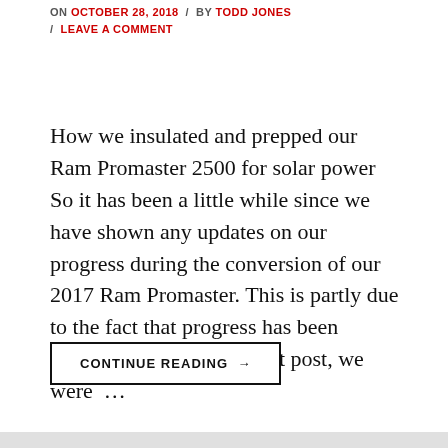ON OCTOBER 28, 2018 / BY TODD JONES / LEAVE A COMMENT
How we insulated and prepped our Ram Promaster 2500 for solar power So it has been a little while since we have shown any updates on our progress during the conversion of our 2017 Ram Promaster. This is partly due to the fact that progress has been somewhat slow. In our last post, we were …
CONTINUE READING →